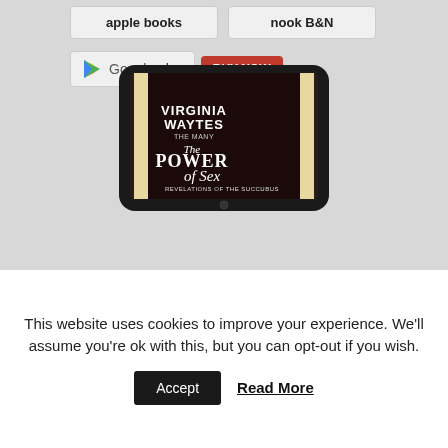[Figure (screenshot): Apple Books store button]
[Figure (screenshot): Nook B&N store button]
[Figure (screenshot): Google Play with BUY NOW button]
[Figure (illustration): Tablet showing book cover: Virginia Waytes - The Power of Sex: Revelations of the Succubus]
This website uses cookies to improve your experience. We'll assume you're ok with this, but you can opt-out if you wish.
Accept
Read More